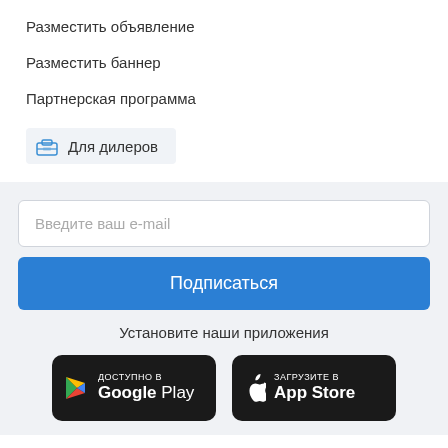Разместить объявление
Разместить баннер
Партнерская программа
Для дилеров
Введите ваш e-mail
Подписаться
Установите наши приложения
[Figure (logo): Google Play badge — black rounded rectangle with Play triangle icon and text 'ДОСТУПНО В Google Play']
[Figure (logo): App Store badge — black rounded rectangle with Apple logo and text 'Загрузите в App Store']